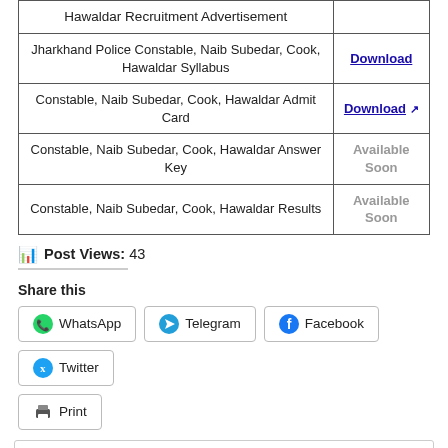|  |  |
| --- | --- |
| Hawaldar Recruitment Advertisement |  |
| Jharkhand Police Constable, Naib Subedar, Cook, Hawaldar Syllabus | Download |
| Constable, Naib Subedar, Cook, Hawaldar Admit Card | Download ↗ |
| Constable, Naib Subedar, Cook, Hawaldar Answer Key | Available Soon |
| Constable, Naib Subedar, Cook, Hawaldar Results | Available Soon |
Post Views: 43
Share this
WhatsApp  Telegram  Facebook  Twitter  Print
Contents [hide]
Jharkhand Police 2018 Constable, Naib Subedar, Cook, Hawaldar Admit Card Download
Job Details:
Jharkhand Police Constable, Naib Subedar, Cook, Hawaldar Result Date